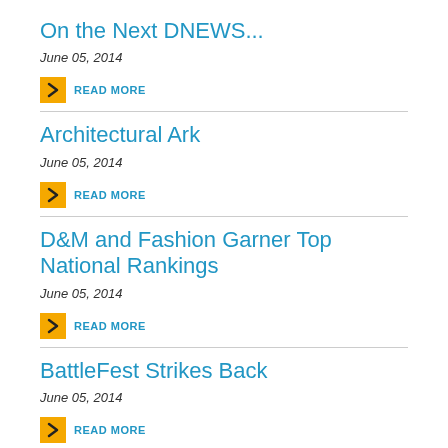On the Next DNEWS...
June 05, 2014
READ MORE
Architectural Ark
June 05, 2014
READ MORE
D&M and Fashion Garner Top National Rankings
June 05, 2014
READ MORE
BattleFest Strikes Back
June 05, 2014
READ MORE